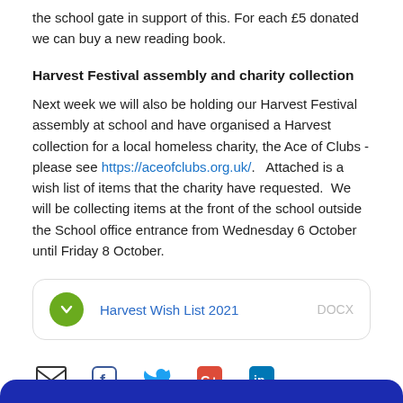the school gate in support of this.  For each £5 donated we can buy a new reading book.
Harvest Festival assembly and charity collection
Next week we will also be holding our Harvest Festival assembly at school and have organised a Harvest collection for a local homeless charity, the Ace of Clubs - please see https://aceofclubs.org.uk/.   Attached is a wish list of items that the charity have requested.  We will be collecting items at the front of the school outside the School office entrance from Wednesday 6 October until Friday 8 October.
[Figure (other): Attachment box showing a document download: green circle with chevron icon, title 'Harvest Wish List 2021', file type 'DOCX']
[Figure (other): Social sharing icons row: email envelope, Facebook, Twitter, Google+, LinkedIn]
[Figure (other): Blue rounded bar at bottom of page]